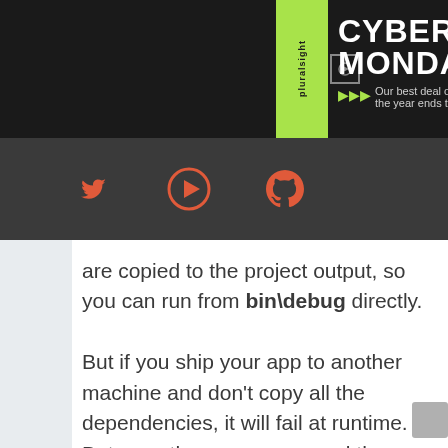[Figure (screenshot): Cyber Monday promotional banner with green accent bar and triangular arrow indicators. Text reads: CYBER MONDAY - Our best deal of the year ends]
[Figure (screenshot): Social media icons row on dark background: Twitter bird, play button circle, GitHub octocat — all in red/orange color]
are copied to the project output, so you can run from bin\debug directly.

But if you ship your app to another machine and don't copy all the dependencies, it will fail at runtime. Between them, your app and the .NET framework know a dependency is required and is missing, but they don't know where to get it from. The